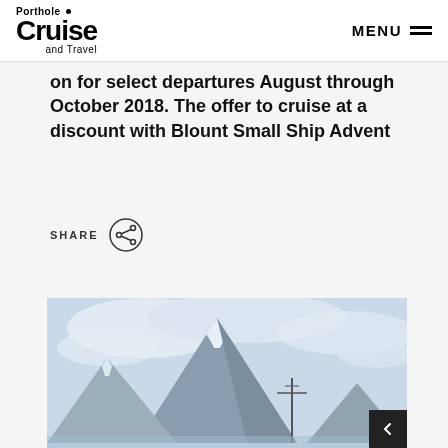Porthole Cruise and Travel — MENU
on for select departures August through October 2018. The offer to cruise at a discount with Blount Small Ship Advent
SHARE
[Figure (photo): A cruise ship mast and antenna visible against a dramatic snow-capped mountain peak with cloudy sky in the background]